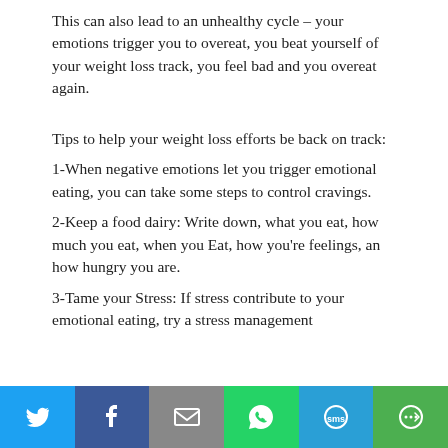This can also lead to an unhealthy cycle – your emotions trigger you to overeat, you beat yourself of your weight loss track, you feel bad and you overeat again.
Tips to help your weight loss efforts be back on track:
1-When negative emotions let you trigger emotional eating, you can take some steps to control cravings.
2-Keep a food dairy: Write down, what you eat, how much you eat, when you Eat, how you're feelings, an how hungry you are.
3-Tame your Stress: If stress contribute to your emotional eating, try a stress management